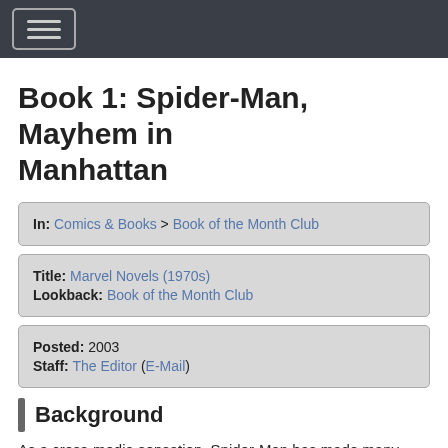Book 1: Spider-Man, Mayhem in Manhattan
In: Comics & Books > Book of the Month Club
Title: Marvel Novels (1970s)
Lookback: Book of the Month Club
Posted: 2003
Staff: The Editor (E-Mail)
Background
As a cross-media sensation, Spider-Man has made many leaps and bounds to new formats and new genres. In 1978, after sixteen years, Spidey was already in comics, kids books, and newspaper strips as well having been